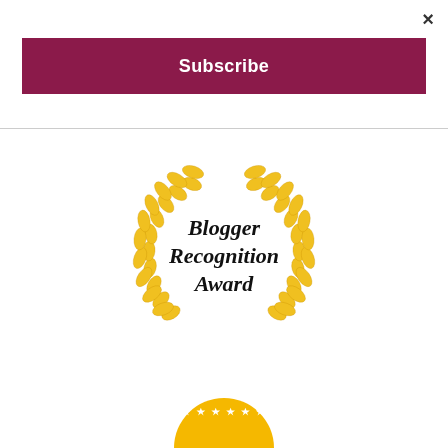×
Subscribe
[Figure (illustration): Blogger Recognition Award — golden laurel wreath with italic text 'Blogger Recognition Award' in center]
[Figure (illustration): Partial gold circular badge with stars visible at bottom of page]